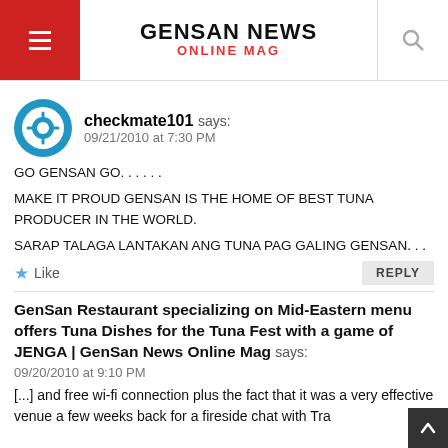GENSAN NEWS ONLINE MAG
checkmate101 says:
09/21/2010 at 7:30 PM
GO GENSAN GO. . . . . .
MAKE IT PROUD GENSAN IS THE HOME OF BEST TUNA PRODUCER IN THE WORLD.
SARAP TALAGA LANTAKAN ANG TUNA PAG GALING GENSAN. . .
Like   REPLY
GenSan Restaurant specializing on Mid-Eastern menu offers Tuna Dishes for the Tuna Fest with a game of JENGA | GenSan News Online Mag says:
09/20/2010 at 9:10 PM
[...] and free wi-fi connection plus the fact that it was a very effective venue a few weeks back for a fireside chat with Tra